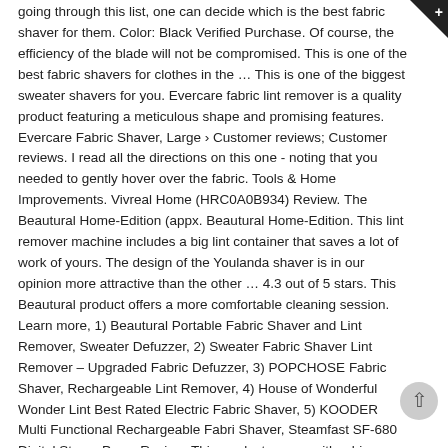going through this list, one can decide which is the best fabric shaver for them. Color: Black Verified Purchase. Of course, the efficiency of the blade will not be compromised. This is one of the best fabric shavers for clothes in the … This is one of the biggest sweater shavers for you. Evercare fabric lint remover is a quality product featuring a meticulous shape and promising features. Evercare Fabric Shaver, Large › Customer reviews; Customer reviews. I read all the directions on this one - noting that you needed to gently hover over the fabric. Tools & Home Improvements. Vivreal Home (HRC0A0B934) Review. The Beautural Home-Edition (appx. Beautural Home-Edition. This lint remover machine includes a big lint container that saves a lot of work of yours. The design of the Youlanda shaver is in our opinion more attractive than the other … 4.3 out of 5 stars. This Beautural product offers a more comfortable cleaning session. Learn more, 1) Beautural Portable Fabric Shaver and Lint Remover, Sweater Defuzzer, 2) Sweater Fabric Shaver Lint Remover – Upgraded Fabric Defuzzer, 3) POPCHOSE Fabric Shaver, Rechargeable Lint Remover, 4) House of Wonderful Wonder Lint Best Rated Electric Fabric Shaver, 5) KOODER Multi Functional Rechargeable Fabri Shaver, Steamfast SF-680 Digital Steam Press Review. This product comes with a big suction box. Right now, it's marked down by a